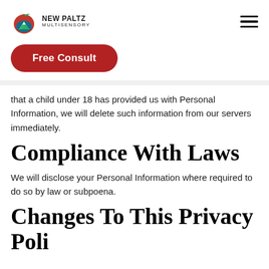NEW PALTZ MULTISENSORY
Free Consult
that a child under 18 has provided us with Personal Information, we will delete such information from our servers immediately.
Compliance With Laws
We will disclose your Personal Information where required to do so by law or subpoena.
Changes To This Privacy Policy